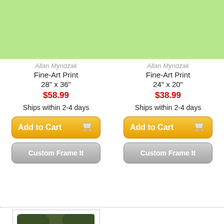Allan Myndzak
Fine-Art Print
28" x 36"
$58.99
Ships within 2-4 days
Allan Myndzak
Fine-Art Print
24" x 20"
$38.99
Ships within 2-4 days
[Figure (screenshot): Add to Cart button (yellow/orange gradient) with shopping cart icon]
[Figure (screenshot): Custom Frame It button (gray gradient)]
[Figure (screenshot): Add to Cart button (yellow/orange gradient) with shopping cart icon]
[Figure (screenshot): Custom Frame It button (gray gradient)]
[Figure (photo): Italian Garden painting showing a garden path with flowers and an archway, by Allan Myndzak]
Italian Garden
Allan Myndzak
Fine-Art Print
24" x 36"